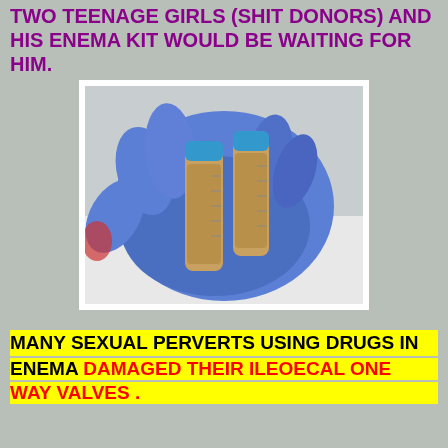TWO TEENAGE GIRLS (SHIT DONORS) AND HIS ENEMA KIT WOULD BE WAITING FOR HIM.
[Figure (photo): A gloved hand wearing blue latex glove holding two specimen sample tubes filled with brownish liquid material, with blue caps.]
MANY SEXUAL PERVERTS USING DRUGS IN ENEMA DAMAGED THEIR ILEOECAL ONE WAY VALVES .